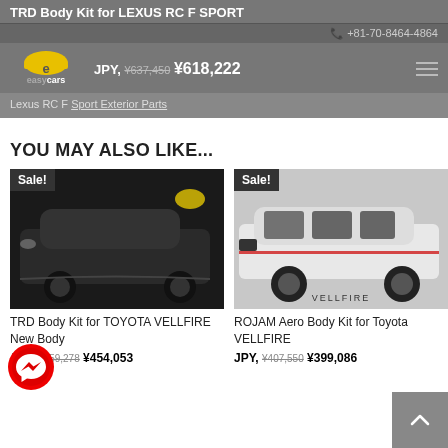TRD Body Kit for LEXUS RC F SPORT
+81-70-8464-4864
JPY, ¥637,450 ¥618,222
Lexus RC F Sport Exterior Parts
YOU MAY ALSO LIKE...
[Figure (photo): Dark Toyota Vellfire with TRD body kit, Sale badge top left]
[Figure (photo): White Toyota Vellfire with ROJAM Aero Body Kit, Sale badge top left, VELLFIRE text on image]
TRD Body Kit for TOYOTA VELLFIRE New Body
JPY, ¥459,278 ¥454,053
ROJAM Aero Body Kit for Toyota VELLFIRE
JPY, ¥407,550 ¥399,086